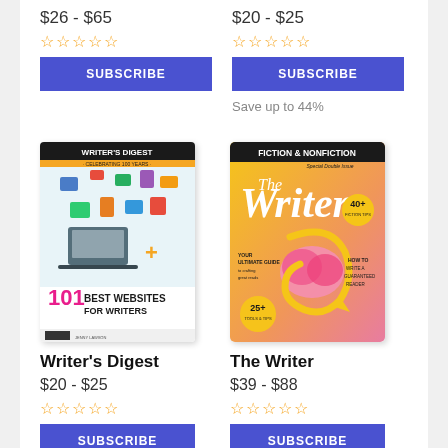$26 - $65
[Figure (other): Five empty star rating icons (left column, top section)]
SUBSCRIBE
$20 - $25
[Figure (other): Five empty star rating icons (right column, top section)]
SUBSCRIBE
Save up to 44%
[Figure (illustration): Writer's Digest magazine cover showing '101 Best Websites for Writers']
Writer's Digest
$20 - $25
[Figure (other): Five empty star rating icons for Writer's Digest]
[Figure (illustration): The Writer magazine cover showing 'Fiction & Nonfiction' with brain illustration]
The Writer
$39 - $88
[Figure (other): Five empty star rating icons for The Writer]